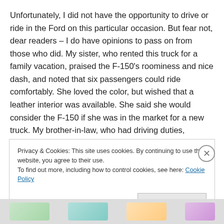Unfortunately, I did not have the opportunity to drive or ride in the Ford on this particular occasion.  But fear not, dear readers – I do have opinions to pass on from those who did.  My sister, who rented this truck for a family vacation, praised the F-150's roominess and nice dash, and noted that six passengers could ride comfortably.  She loved the color, but wished that a leather interior was available.  She said she would consider the F-150 if she was in the market for a new truck.  My brother-in-law, who had driving duties, thought the suspension was a bit soft and the bed
Privacy & Cookies: This site uses cookies. By continuing to use this website, you agree to their use.
To find out more, including how to control cookies, see here: Cookie Policy
Close and accept